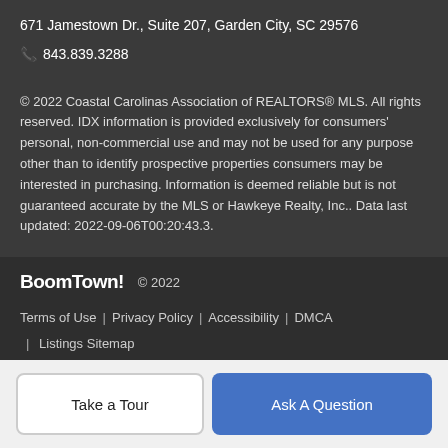671 Jamestown Dr., Suite 207, Garden City, SC 29576
☎ 843.839.3288
© 2022 Coastal Carolinas Association of REALTORS® MLS. All rights reserved. IDX information is provided exclusively for consumers' personal, non-commercial use and may not be used for any purpose other than to identify prospective properties consumers may be interested in purchasing. Information is deemed reliable but is not guaranteed accurate by the MLS or Hawkeye Realty, Inc.. Data last updated: 2022-09-06T00:20:43.3.
BoomTown! © 2022 | Terms of Use | Privacy Policy | Accessibility | DMCA | Listings Sitemap
Take a Tour
Ask A Question